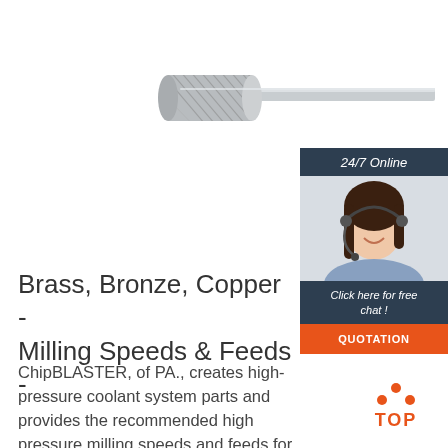[Figure (photo): A carbide cylindrical burr/rotary tool with a shank, shown against a white background]
[Figure (infographic): 24/7 Online chat widget with a woman wearing a headset, showing 'Click here for free chat!' and a QUOTATION button]
Brass, Bronze, Copper - Milling Speeds & Feeds -
ChipBLASTER, of PA., creates high-pressure coolant system parts and provides the recommended high pressure milling speeds and feeds for bronze &
[Figure (logo): TOP button with orange dots forming an upward arrow above the orange word TOP]